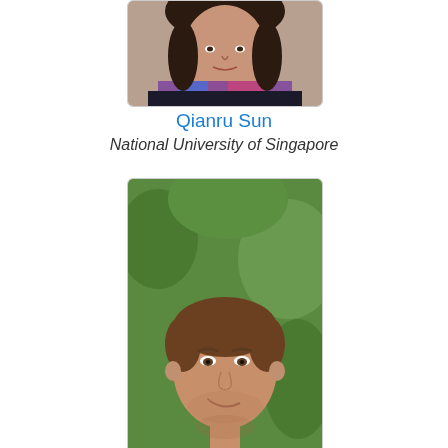[Figure (photo): Headshot photo of Qianru Sun (partially cropped at top), woman with dark curly hair and colorful scarf]
Qianru Sun
National University of Singapore
[Figure (photo): Headshot photo of Tomasz Trzcinski, young man with short brown hair, smiling, green foliage background]
Tomasz Trzcinski
Warsaw University of Technology
[Figure (photo): Headshot photo of a third person (partially cropped at bottom), man with dark hair]